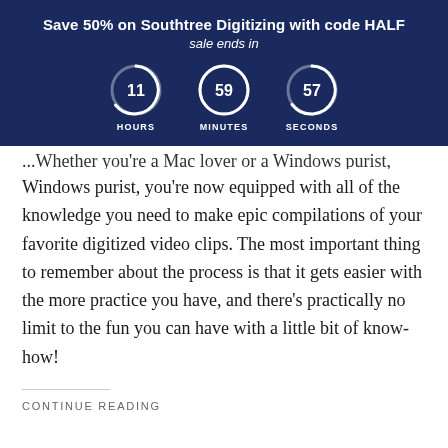Save 50% on Southtree Digitizing with code HALF
sale ends in
11 HOURS  59 MINUTES  57 SECONDS
...Whether you're a Mac lover or a Windows purist, you're now equipped with all of the knowledge you need to make epic compilations of your favorite digitized video clips. The most important thing to remember about the process is that it gets easier with the more practice you have, and there's practically no limit to the fun you can have with a little bit of know-how!
CONTINUE READING